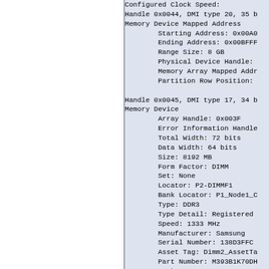Configured Clock Speed: [truncated]
Handle 0x0044, DMI type 20, 35 b[ytes]
Memory Device Mapped Address
    Starting Address: 0x00A0[...]
    Ending Address: 0x00BFFF[...]
    Range Size: 8 GB
    Physical Device Handle: [...]
    Memory Array Mapped Addr[ess:...]
    Partition Row Position: [...]
Handle 0x0045, DMI type 17, 34 b[ytes]
Memory Device
    Array Handle: 0x003F
    Error Information Handle[: ...]
    Total Width: 72 bits
    Data Width: 64 bits
    Size: 8192 MB
    Form Factor: DIMM
    Set: None
    Locator: P2-DIMMF1
    Bank Locator: P1_Node1_C[...]
    Type: DDR3
    Type Detail: Registered [...]
    Speed: 1333 MHz
    Manufacturer: Samsung
    Serial Number: 138D3FFC[...]
    Asset Tag: Dimm2_AssetTa[g...]
    Part Number: M393B1K70DH[...]
    Rank: 2
    Configured Clock Speed: [...]
Handle 0x0046, DMI type 20, 35 b[ytes]